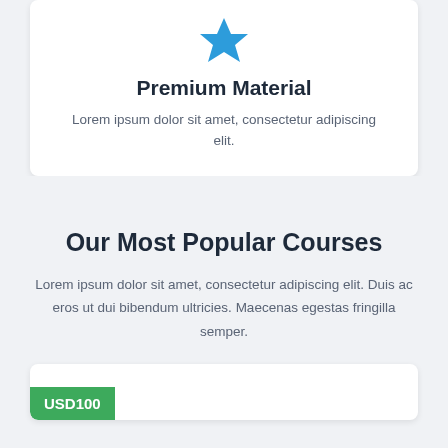[Figure (illustration): Blue star icon centered at top of card]
Premium Material
Lorem ipsum dolor sit amet, consectetur adipiscing elit.
Our Most Popular Courses
Lorem ipsum dolor sit amet, consectetur adipiscing elit. Duis ac eros ut dui bibendum ultricies. Maecenas egestas fringilla semper.
USD100